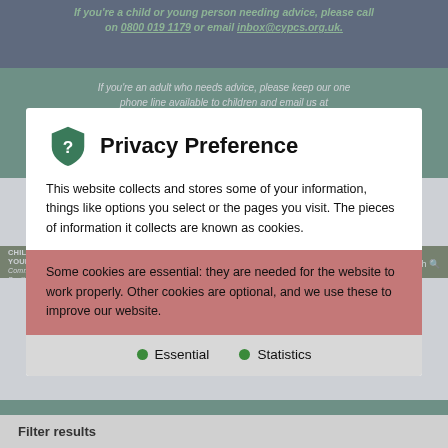If you're a child or young person needing advice, please call on 0800 019 1179 or email inbox@cypcs.org.uk.
If you're an adult who needs advice, please keep our one phone line available to children and email us at
[Figure (screenshot): Privacy Preference modal dialog overlay on CYPCS website. Contains shield icon with question mark, title 'Privacy Preference', body text about cookies, a pink section about essential cookies, a grey section about optional cookies, and bullet points for Essential and Statistics cookie options.]
Privacy Preference
This website collects and stores some of your information, things like options you select or the pages you visit. The pieces of information it collects are known as cookies.
Some cookies are essential: they are needed for the website to work properly. Other cookies are optional, and we use these to improve our website.
Essential
Statistics
News and stories
Filter results